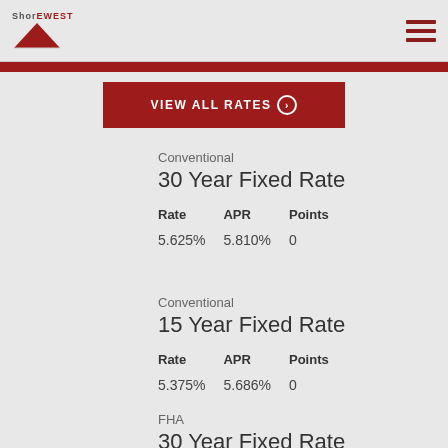Shorewest
VIEW ALL RATES
Conventional
30 Year Fixed Rate
| Rate | APR | Points |
| --- | --- | --- |
| 5.625% | 5.810% | 0 |
Conventional
15 Year Fixed Rate
| Rate | APR | Points |
| --- | --- | --- |
| 5.375% | 5.686% | 0 |
FHA
30 Year Fixed Rate